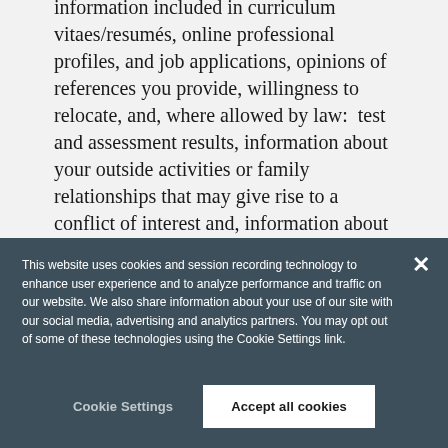information included in curriculum vitaes/resumés, online professional profiles, and job applications, opinions of references you provide, willingness to relocate, and, where allowed by law:  test and assessment results, information about your outside activities or family relationships that may give rise to a conflict of interest and, information about criminal offense, conviction, pending investigations and administrative sanctions.
This website uses cookies and session recording technology to enhance user experience and to analyze performance and traffic on our website. We also share information about your use of our site with our social media, advertising and analytics partners. You may opt out of some of these technologies using the Cookie Settings link.
Cookie Settings
Accept all cookies